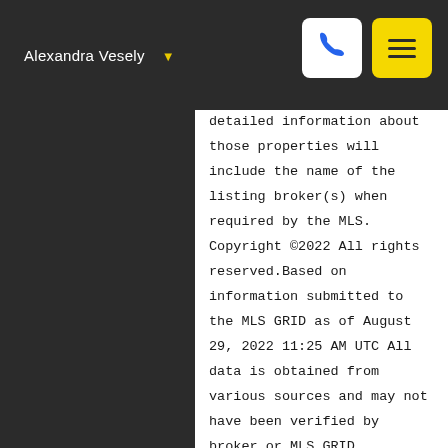Alexandra Vesely
detailed information about those properties will include the name of the listing broker(s) when required by the MLS. Copyright ©2022 All rights reserved.Based on information submitted to the MLS GRID as of August 29, 2022 11:25 AM UTC All data is obtained from various sources and may not have been verified by broker or MLS GRID. Supplied Open House Information is subject to